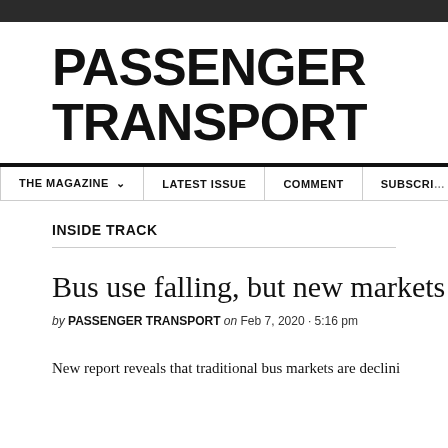PASSENGER TRANSPORT
THE MAGAZINE  LATEST ISSUE  COMMENT  SUBSCRIBE
INSIDE TRACK
Bus use falling, but new markets em…
by PASSENGER TRANSPORT on Feb 7, 2020 · 5:16 pm
New report reveals that traditional bus markets are declini…